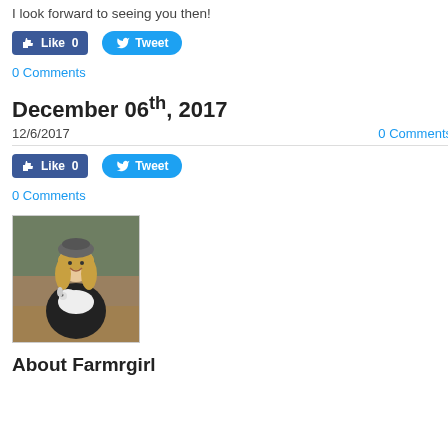I look forward to seeing you then!
[Figure (infographic): Facebook Like button (blue, showing 0 likes) and Twitter Tweet button (blue rounded)]
0 Comments
December 06th, 2017
12/6/2017
0 Comments
[Figure (infographic): Facebook Like button (blue, showing 0 likes) and Twitter Tweet button (blue rounded)]
0 Comments
[Figure (photo): A smiling woman with long blonde hair wearing a grey beanie hat and dark jacket, holding a white lamb. Outdoor setting with trees in background.]
About Farmrgirl